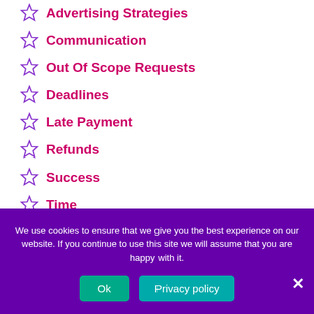Advertising Strategies
Communication
Out Of Scope Requests
Deadlines
Late Payment
Refunds
Success
Time
Partnering
We use cookies to ensure that we give you the best experience on our website. If you continue to use this site we will assume that you are happy with it.
Ok
Privacy policy